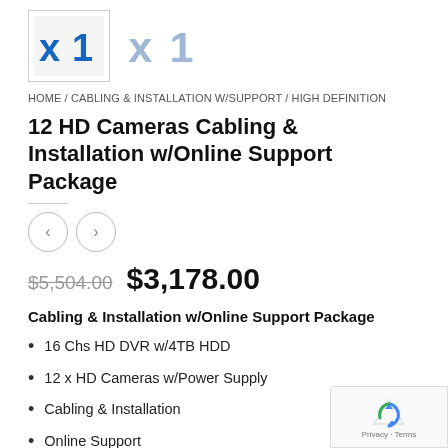[Figure (other): Two product thumbnail images with blue X1 text logos, one with a border box and one ghost/lighter version]
HOME / CABLING & INSTALLATION W/SUPPORT / HIGH DEFINITION
12 HD Cameras Cabling & Installation w/Online Support Package
$5,504.00  $3,178.00
Cabling & Installation w/Online Support Package
16 Chs HD DVR w/4TB HDD
12 x HD Cameras w/Power Supply
Cabling & Installation
Online Support